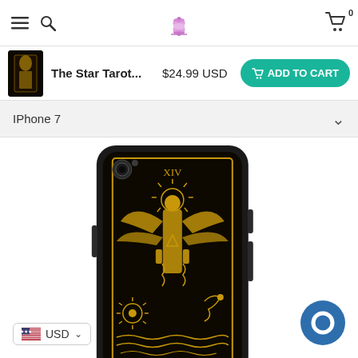Navigation bar with hamburger menu, search icon, lotus logo, and shopping cart
The Star Tarot...  $24.99 USD  ADD TO CART
IPhone 7
[Figure (photo): iPhone 7 phone case with gold tarot card angel design on black background]
USD
[Figure (other): Blue circle chat button]